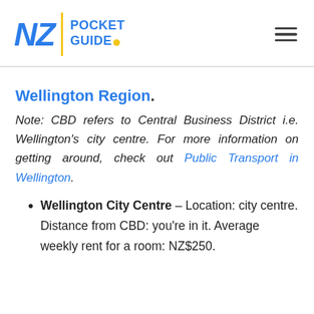NZ | POCKET GUIDE
Wellington Region.
Note: CBD refers to Central Business District i.e. Wellington's city centre. For more information on getting around, check out Public Transport in Wellington.
Wellington City Centre – Location: city centre. Distance from CBD: you're in it. Average weekly rent for a room: NZ$250.